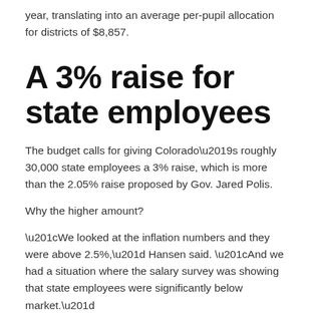year, translating into an average per-pupil allocation for districts of $8,857.
A 3% raise for state employees
The budget calls for giving Colorado’s roughly 30,000 state employees a 3% raise, which is more than the 2.05% raise proposed by Gov. Jared Polis.
Why the higher amount?
“We looked at the inflation numbers and they were above 2.5%,” Hansen said. “And we had a situation where the salary survey was showing that state employees were significantly below market.”